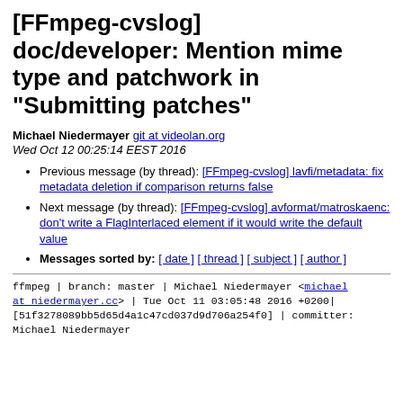[FFmpeg-cvslog] doc/developer: Mention mime type and patchwork in "Submitting patches"
Michael Niedermayer git at videolan.org
Wed Oct 12 00:25:14 EEST 2016
Previous message (by thread): [FFmpeg-cvslog] lavfi/metadata: fix metadata deletion if comparison returns false
Next message (by thread): [FFmpeg-cvslog] avformat/matroskaenc: don't write a FlagInterlaced element if it would write the default value
Messages sorted by: [ date ] [ thread ] [ subject ] [ author ]
ffmpeg | branch: master | Michael Niedermayer <michael at niedermayer.cc> | Tue Oct 11 03:05:48 2016 +0200| [51f3278089bb5d65d4a1c47cd037d9d706a254f0] | committer: Michael Niedermayer